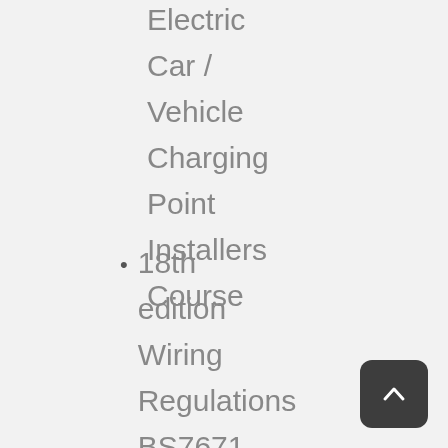Electric Car / Vehicle Charging Point Installers Course
18th edition Wiring Regulations BS7671 certified